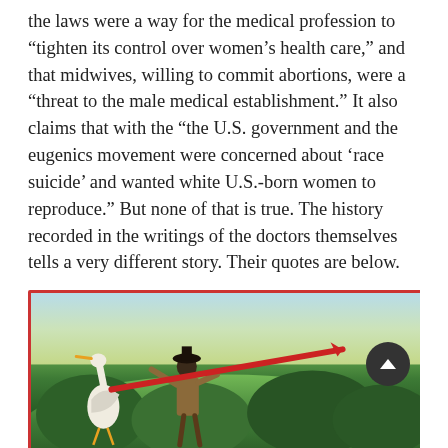the laws were a way for the medical profession to “tighten its control over women’s health care,” and that midwives, willing to commit abortions, were a “threat to the male medical establishment.” It also claims that with the “the U.S. government and the eugenics movement were concerned about ‘race suicide’ and wanted white U.S.-born women to reproduce.” But none of that is true. The history recorded in the writings of the doctors themselves tells a very different story. Their quotes are below.
[Figure (illustration): A vintage illustration with a red border showing a figure in period costume carrying a red lance or spear, with a stork nearby, set against a background of green foliage and a light sky.]